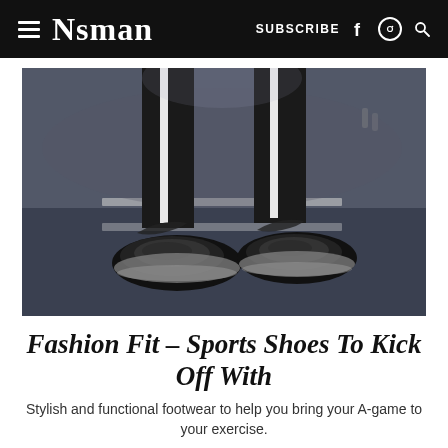≡ NSMAN   SUBSCRIBE f ⊙ Q
[Figure (photo): Close-up photo of a person wearing black sports/athletic sneakers standing on a blue rubberized running track surface. The person is wearing black pants with white vertical stripes. The photo is taken from a low angle, emphasizing the shoes on the track.]
Fashion Fit – Sports Shoes To Kick Off With
Stylish and functional footwear to help you bring your A-game to your exercise.